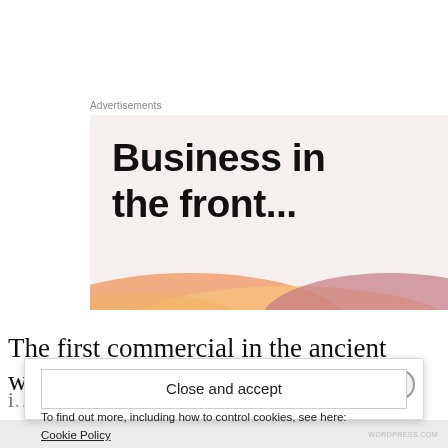Advertisements
[Figure (illustration): Advertisement banner with bold text 'Business in the front...' on a light beige background with a colorful wave graphic at the bottom in orange, yellow, and pink/mauve tones.]
The first commercial in the ancient world is feet
i...
Privacy & Cookies: This site uses cookies. By continuing to use this website, you agree to their use.
To find out more, including how to control cookies, see here: Cookie Policy
Close and accept